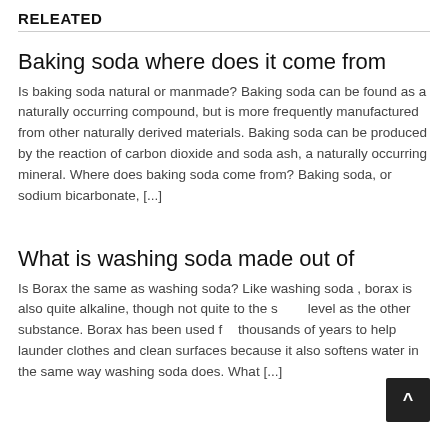RELEATED
Baking soda where does it come from
Is baking soda natural or manmade? Baking soda can be found as a naturally occurring compound, but is more frequently manufactured from other naturally derived materials. Baking soda can be produced by the reaction of carbon dioxide and soda ash, a naturally occurring mineral. Where does baking soda come from? Baking soda, or sodium bicarbonate, [...]
What is washing soda made out of
Is Borax the same as washing soda? Like washing soda , borax is also quite alkaline, though not quite to the same level as the other substance. Borax has been used for thousands of years to help launder clothes and clean surfaces because it also softens water in the same way washing soda does. What [...]